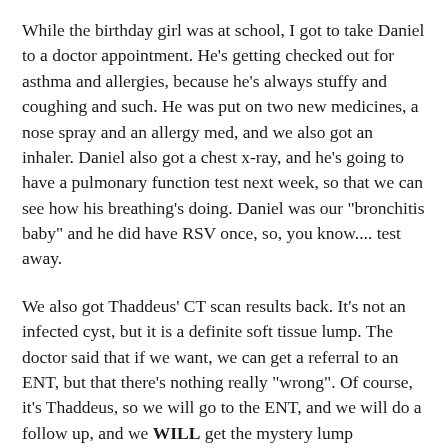While the birthday girl was at school, I got to take Daniel to a doctor appointment. He's getting checked out for asthma and allergies, because he's always stuffy and coughing and such. He was put on two new medicines, a nose spray and an allergy med, and we also got an inhaler. Daniel also got a chest x-ray, and he's going to have a pulmonary function test next week, so that we can see how his breathing's doing. Daniel was our "bronchitis baby" and he did have RSV once, so, you know.... test away.
We also got Thaddeus' CT scan results back. It's not an infected cyst, but it is a definite soft tissue lump. The doctor said that if we want, we can get a referral to an ENT, but that there's nothing really "wrong". Of course, it's Thaddeus, so we will go to the ENT, and we will do a follow up, and we WILL get the mystery lump removed... we'll just wait until after July 1 to go, because, you know, insurance roll-over. (Once, I thought that our flex benefits account was silly. Now I'm annoyed that we don't put more into it.)
Also, did I tell you that Daniel bought an MP3 player? Because he did, and now it's my job to load it up with all the songs he likes. Of course, since he's MY child, he like all the music I like. This is a problem because now he has a really awesome soundtrack for life